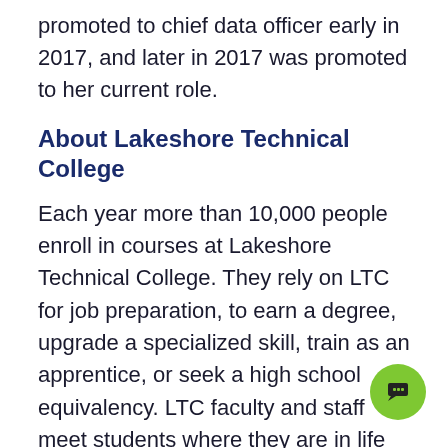promoted to chief data officer early in 2017, and later in 2017 was promoted to her current role.
About Lakeshore Technical College
Each year more than 10,000 people enroll in courses at Lakeshore Technical College. They rely on LTC for job preparation, to earn a degree, upgrade a specialized skill, train as an apprentice, or seek a high school equivalency. LTC faculty and staff meet students where they are in life and help them get